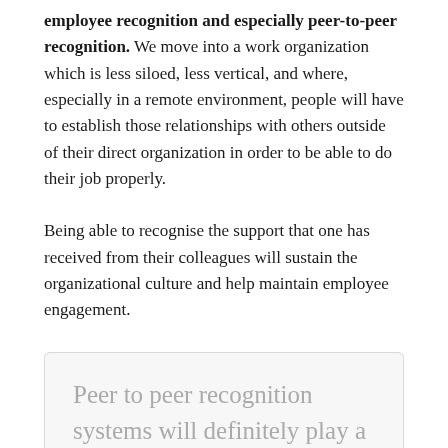employee recognition and especially peer-to-peer recognition. We move into a work organization which is less siloed, less vertical, and where, especially in a remote environment, people will have to establish those relationships with others outside of their direct organization in order to be able to do their job properly.
Being able to recognise the support that one has received from their colleagues will sustain the organizational culture and help maintain employee engagement.
Peer to peer recognition systems will definitely play a big role in order to maintain engagement and motivation for employees.